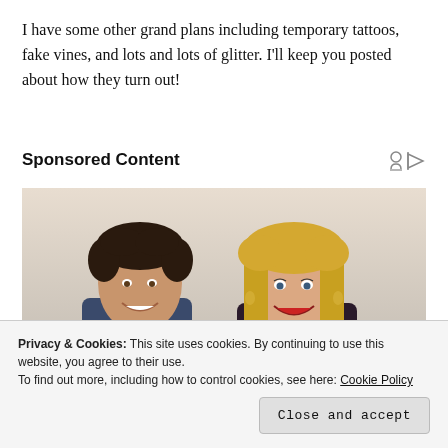I have some other grand plans including temporary tattoos, fake vines, and lots and lots of glitter. I'll keep you posted about how they turn out!
Sponsored Content
[Figure (photo): A man and woman smiling, posed together for a promotional photo. The man has dark curly hair and the woman has long blonde hair.]
Privacy & Cookies: This site uses cookies. By continuing to use this website, you agree to their use.
To find out more, including how to control cookies, see here: Cookie Policy
Close and accept